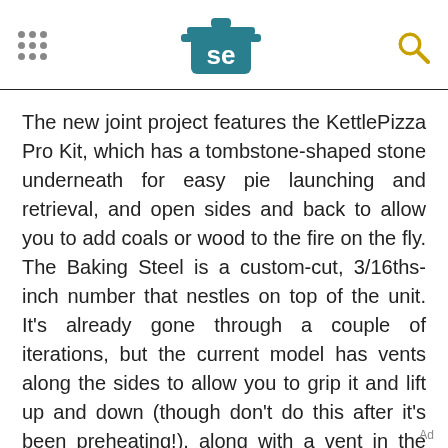SE logo with grid menu and search icon
The new joint project features the KettlePizza Pro Kit, which has a tombstone-shaped stone underneath for easy pie launching and retrieval, and open sides and back to allow you to add coals or wood to the fire on the fly. The Baking Steel is a custom-cut, 3/16ths-inch number that nestles on top of the unit. It's already gone through a couple of iterations, but the current model has vents along the sides to allow you to grip it and lift up and down (though don't do this after it's been preheating!), along with a vent in the back for
Ad